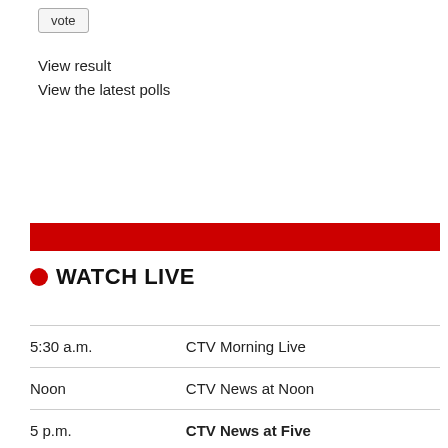vote
View result
View the latest polls
WATCH LIVE
| Time | Show |
| --- | --- |
| 5:30 a.m. | CTV Morning Live |
| Noon | CTV News at Noon |
| 5 p.m. | CTV News at Five |